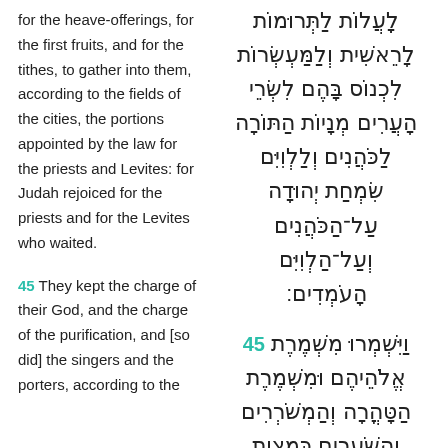for the heave-offerings, for the first fruits, and for the tithes, to gather into them, according to the fields of the cities, the portions appointed by the law for the priests and Levites: for Judah rejoiced for the priests and for the Levites who waited.
45 They kept the charge of their God, and the charge of the purification, and [so did] the singers and the porters, according to the
Hebrew text of verses from Nehemiah 12